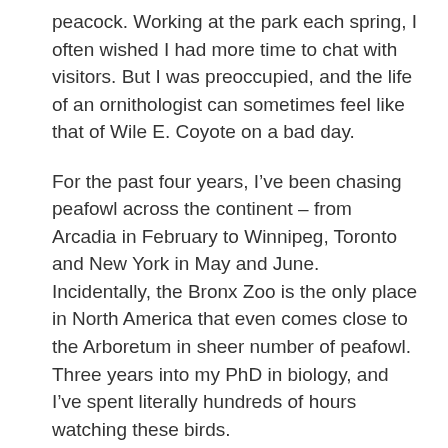peacock. Working at the park each spring, I often wished I had more time to chat with visitors. But I was preoccupied, and the life of an ornithologist can sometimes feel like that of Wile E. Coyote on a bad day.
For the past four years, I’ve been chasing peafowl across the continent – from Arcadia in February to Winnipeg, Toronto and New York in May and June. Incidentally, the Bronx Zoo is the only place in North America that even comes close to the Arboretum in sheer number of peafowl. Three years into my PhD in biology, and I’ve spent literally hundreds of hours watching these birds.
You may be wondering what got me into this mess.
Continue reading →